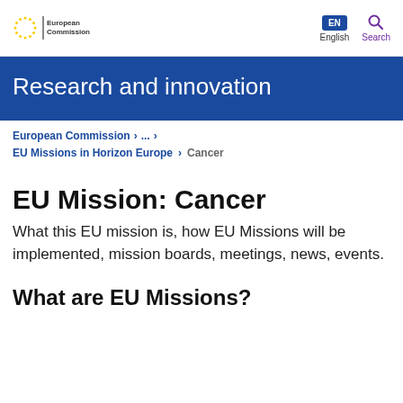European Commission | EN English Search
Research and innovation
European Commission > ... > EU Missions in Horizon Europe > Cancer
EU Mission: Cancer
What this EU mission is, how EU Missions will be implemented, mission boards, meetings, news, events.
What are EU Missions?